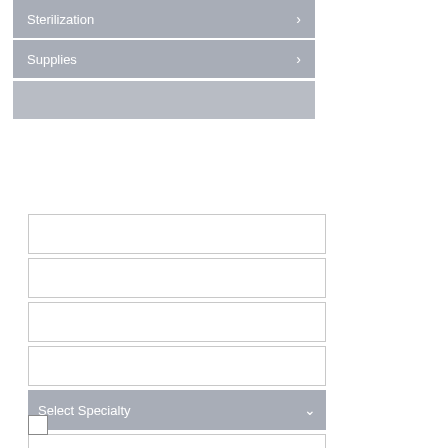Sterilization
Supplies
[Figure (screenshot): Empty gray menu bar item]
[Figure (screenshot): Form with multiple empty input fields, a Select Specialty dropdown, a textarea, and a checkbox]